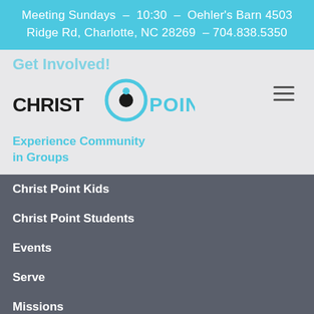Meeting Sundays  –  10:30  –  Oehler's Barn 4503 Ridge Rd, Charlotte, NC 28269  – 704.838.5350
Get Involved!
[Figure (logo): Christ Point church logo with circular icon and stylized text]
Experience Community in Groups
Christ Point Kids
Christ Point Students
Events
Serve
Missions
Employment
Resources
Messages